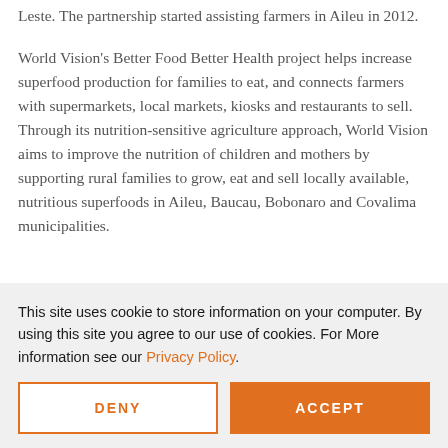Leste. The partnership started assisting farmers in Aileu in 2012.
World Vision's Better Food Better Health project helps increase superfood production for families to eat, and connects farmers with supermarkets, local markets, kiosks and restaurants to sell. Through its nutrition-sensitive agriculture approach, World Vision aims to improve the nutrition of children and mothers by supporting rural families to grow, eat and sell locally available, nutritious superfoods in Aileu, Baucau, Bobonaro and Covalima municipalities.
This site uses cookie to store information on your computer. By using this site you agree to our use of cookies. For More information see our Privacy Policy.
DENY
ACCEPT